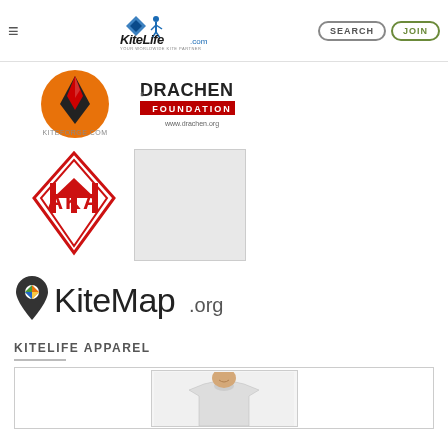KiteLife.com navigation bar with hamburger menu, KiteLife logo, SEARCH button, JOIN button
[Figure (logo): KiteForge.com logo — kite silhouette on orange circle]
[Figure (logo): Drachen Foundation logo — red text on white with www.drachen.org]
[Figure (logo): AKA (American Kitefliers Association) logo — red diamond with AKA letters]
[Figure (logo): Gray placeholder rectangle]
[Figure (logo): KiteMap.org logo — map pin icon with colorful kite shape and KiteMap.org text]
KITELIFE APPAREL
[Figure (photo): Product photo showing a person wearing a light gray t-shirt, inside a product card frame]